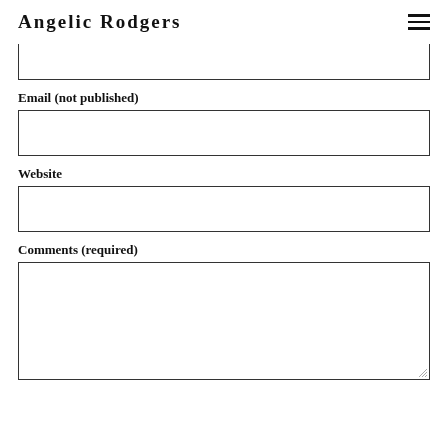Angelic Rodgers
Email (not published)
Website
Comments (required)